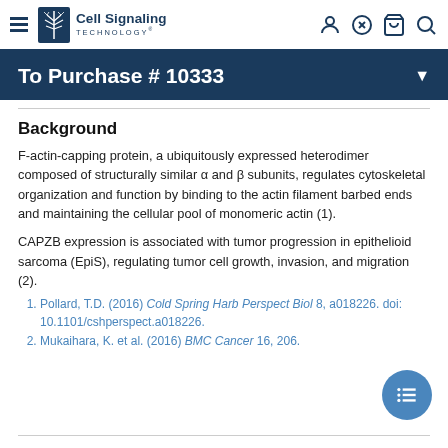Cell Signaling Technology
To Purchase # 10333
Background
F-actin-capping protein, a ubiquitously expressed heterodimer composed of structurally similar α and β subunits, regulates cytoskeletal organization and function by binding to the actin filament barbed ends and maintaining the cellular pool of monomeric actin (1).
CAPZB expression is associated with tumor progression in epithelioid sarcoma (EpiS), regulating tumor cell growth, invasion, and migration (2).
Pollard, T.D. (2016) Cold Spring Harb Perspect Biol 8, a018226. doi: 10.1101/cshperspect.a018226.
Mukaihara, K. et al. (2016) BMC Cancer 16, 206.